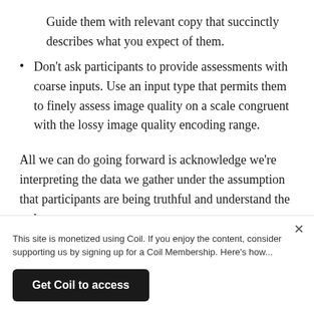Guide them with relevant copy that succinctly describes what you expect of them.
Don’t ask participants to provide assessments with coarse inputs. Use an input type that permits them to finely assess image quality on a scale congruent with the lossy image quality encoding range.
All we can do going forward is acknowledge we’re interpreting the data we gather under the assumption that participants are being truthful and understand the task given to them. Even if the assumptions contain
This site is monetized using Coil. If you enjoy the content, consider supporting us by signing up for a Coil Membership. Here’s how...
Get Coil to access